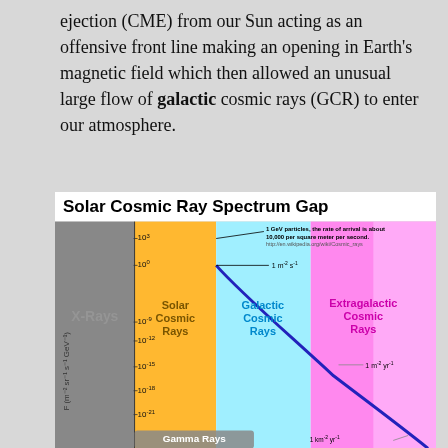ejection (CME) from our Sun acting as an offensive front line making an opening in Earth's magnetic field which then allowed an unusual large flow of galactic cosmic rays (GCR) to enter our atmosphere.
[Figure (infographic): Solar Cosmic Ray Spectrum Gap diagram showing flux (F) vs energy spectrum for different cosmic ray types: X-Rays (grey), Solar Cosmic Rays (orange), Galactic Cosmic Rays (cyan), and Extragalactic Cosmic Rays (pink/magenta). Y-axis shows F (m^-2 sr^-1 s^-1 GeV^-1) from 10^3 down to 10^-21. Annotations: 1 GeV particles rate ~10,000 per square meter per second; 1 m^-2 s^-1; 1 m^-2 yr^-1; 1 km^-2 yr^-1. Gamma Rays label at bottom. A steep blue line curves through the spectrum.]